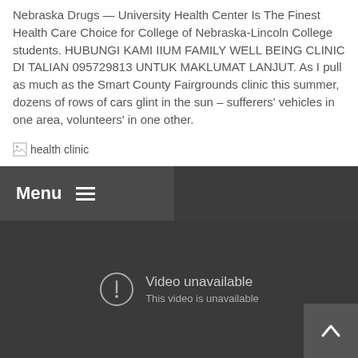Nebraska Drugs — University Health Center Is The Finest Health Care Choice for College of Nebraska-Lincoln College students. HUBUNGI KAMI IIUM FAMILY WELL BEING CLINIC DI TALIAN 095729813 UNTUK MAKLUMAT LANJUT. As I pull as much as the Smart County Fairgrounds clinic this summer, dozens of rows of cars glint in the sun – sufferers' vehicles in one area, volunteers' in one other.
[Figure (other): Broken image placeholder with alt text 'health clinic']
[Figure (screenshot): Mobile browser navigation menu bar showing 'Menu' with hamburger icon, overlaid on a dark video player area showing 'Video unavailable / This video is unavailable' message with an error icon and a scroll-up button]